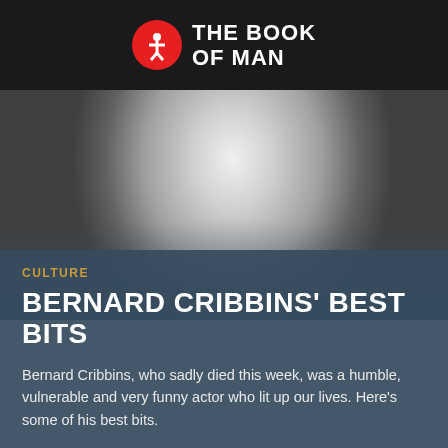THE BOOK OF MAN
[Figure (photo): Black and white photograph of Bernard Cribbins, upper body visible, wearing a striped jacket]
CULTURE
BERNARD CRIBBINS' BEST BITS
Bernard Cribbins, who sadly died this week, was a humble, vulnerable and very funny actor who lit up our lives. Here's some of his best bits.
Martin Robinson 3 WEEKS AGO
[Figure (photo): Black and white photograph of a man with dark hair, lower portion of page, with a circular menu button overlay and a reCAPTCHA privacy badge in the bottom right corner]